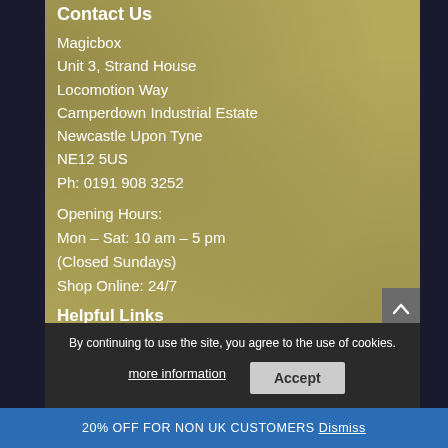Contact Us
Magicbox
Unit 3, Strand House
Locomtion Way
Camperdown Industrial Estate
Newcastle Upon Tyne
NE12 5US
Ph: 0191 908 3252
Opening Hours:
Mon – Sat: 10 am – 5 pm
(Closed Sundays)
Shop Online: 24/7
Helpful Links
My Account
Loyalty Points
By continuing to use the site, you agree to the use of cookies.
more information    Accept
20% OFF FOR NON UK CUSTOMERS Dismiss